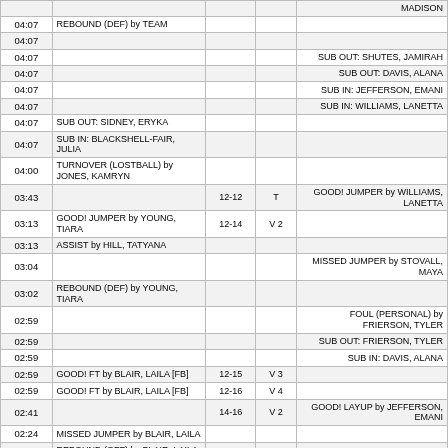| Time | Home | Score | Margin | Away |
| --- | --- | --- | --- | --- |
|  |  |  |  | MADISON |
| 04:07 | REBOUND (DEF) by TEAM |  |  |  |
| 04:07 |  |  |  |  |
| 04:07 |  |  |  | SUB OUT: SHUTES, JAMIRAH |
| 04:07 |  |  |  | SUB OUT: DAVIS, ALANA |
| 04:07 |  |  |  | SUB IN: JEFFERSON, EMANI |
| 04:07 |  |  |  | SUB IN: WILLIAMS, LANETTA |
| 04:07 | SUB OUT: SIDNEY, ERYKA |  |  |  |
| 04:07 | SUB IN: BLACKSHELL-FAIR, JULIA |  |  |  |
| 04:00 | TURNOVER (LOSTBALL) by JONES, KAMRYN |  |  |  |
| 03:43 |  | 12-12 | T | GOOD! JUMPER by WILLIAMS, LANETTA |
| 03:13 | GOOD! JUMPER by YOUNG, TIARA | 12-14 | V 2 |  |
| 03:13 | ASSIST by HILL, TATYANA |  |  |  |
| 03:04 |  |  |  | MISSED JUMPER by STOVALL, MAYA |
| 03:02 | REBOUND (DEF) by YOUNG, TIARA |  |  |  |
| 02:59 |  |  |  | FOUL (PERSONAL) by FRIERSON, TYLER |
| 02:59 |  |  |  | SUB OUT: FRIERSON, TYLER |
| 02:59 |  |  |  | SUB IN: DAVIS, ALANA |
| 02:59 | GOOD! FT by BLAIR, LAILA [FB] | 12-15 | V 3 |  |
| 02:59 | GOOD! FT by BLAIR, LAILA [FB] | 12-16 | V 4 |  |
| 02:41 |  | 14-16 | V 2 | GOOD! LAYUP by JEFFERSON, EMANI |
| 02:24 | MISSED JUMPER by BLAIR, LAILA |  |  |  |
| 02:19 | REBOUND (OFF) by BLAIR, LAILA |  |  |  |
| 02:16 |  |  |  | SUB OUT: GRIGGS, MADISON |
| 02:16 |  |  |  | SUB IN: SHUTES, JAMIRAH |
| 02:16 | SUB OUT: HILL, TATYANA |  |  |  |
| 02:16 | SUB IN: DIAGNE, FATOU |  |  |  |